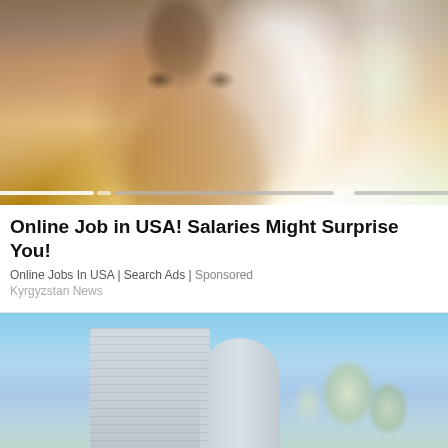[Figure (photo): Woman with glasses sitting on couch looking at camera, wearing yellow floral top, bright background with plant]
Online Job in USA! Salaries Might Surprise You!
Online Jobs In USA | Search Ads | Sponsored
Kyrgyzstan News
[Figure (photo): Modern cylindrical skyscraper building against blue sky with trees in foreground]